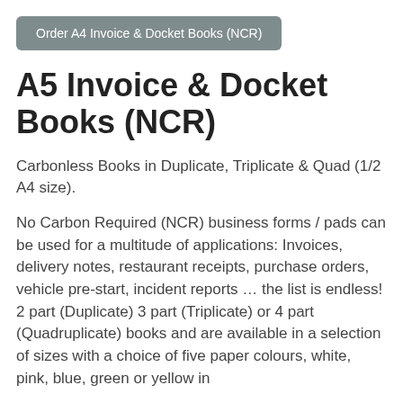Order A4 Invoice & Docket Books (NCR)
A5 Invoice & Docket Books (NCR)
Carbonless Books in Duplicate, Triplicate & Quad (1/2 A4 size).
No Carbon Required (NCR) business forms / pads can be used for a multitude of applications: Invoices, delivery notes, restaurant receipts, purchase orders, vehicle pre-start, incident reports … the list is endless! 2 part (Duplicate) 3 part (Triplicate) or 4 part (Quadruplicate) books and are available in a selection of sizes with a choice of five paper colours, white, pink, blue, green or yellow in